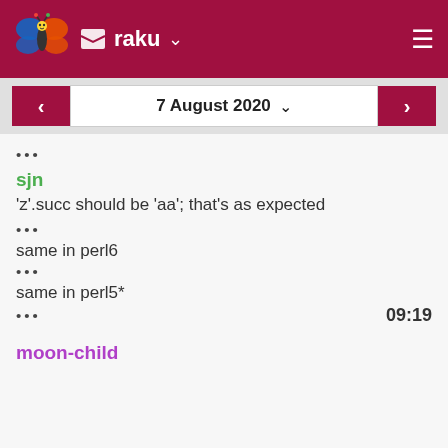raku
7 August 2020
• • •
sjn
'z'.succ should be 'aa'; that's as expected
• • •
same in perl6
• • •
same in perl5*
• • •   09:19
moon-child